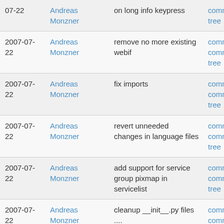| Date | Author | Message | Links |
| --- | --- | --- | --- |
| 07-22 | Andreas Monzner | on long info keypress | commitdiff | tree |
| 2007-07-22 | Andreas Monzner | remove no more existing webif | commit | commitdiff | tree |
| 2007-07-22 | Andreas Monzner | fix imports | commit | commitdiff | tree |
| 2007-07-22 | Andreas Monzner | revert unneeded changes in language files | commit | commitdiff | tree |
| 2007-07-22 | Andreas Monzner | add support for service group pixmap in servicelist | commit | commitdiff | tree |
| 2007-07-22 | Andreas Monzner | cleanup __init__.py files .... | commit | commitdiff | tree |